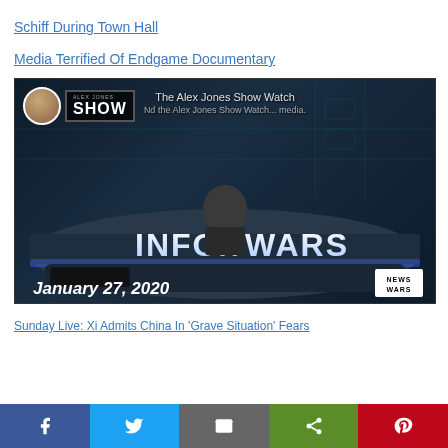Schiff During Town Hall
Media Terrified Of Endgame Documentary
[Figure (screenshot): Video thumbnail for The Alex Jones Show, dated January 27, 2020, showing the Infowars studio set with the INFOWARS logo on the desk, a News Wars badge in the bottom right, and overlaid text about The Alex Jones Show Watch.]
Sunday Live: Xi Admits China In 'Grave Situation' Fears